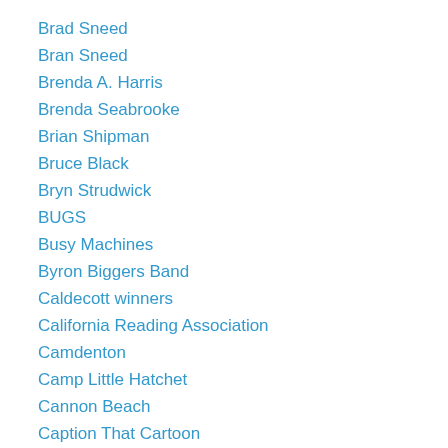Brad Sneed
Bran Sneed
Brenda A. Harris
Brenda Seabrooke
Brian Shipman
Bruce Black
Bryn Strudwick
BUGS
Busy Machines
Byron Biggers Band
Caldecott winners
California Reading Association
Camdenton
Camp Little Hatchet
Cannon Beach
Caption That Cartoon
Captiva
Careerhymes
Carmela Martino
Carol Baldwin